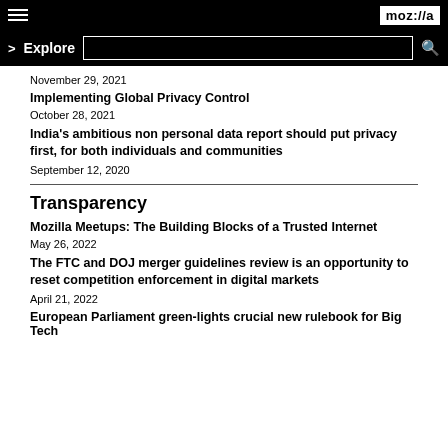moz://a
Explore
November 29, 2021
Implementing Global Privacy Control
October 28, 2021
India's ambitious non personal data report should put privacy first, for both individuals and communities
September 12, 2020
Transparency
Mozilla Meetups: The Building Blocks of a Trusted Internet
May 26, 2022
The FTC and DOJ merger guidelines review is an opportunity to reset competition enforcement in digital markets
April 21, 2022
European Parliament green-lights crucial new rulebook for Big Tech